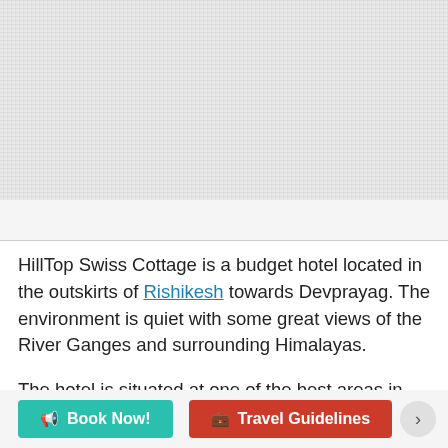[Figure (photo): Gray placeholder area representing a hotel or landscape photo]
HillTop Swiss Cottage is a budget hotel located in the outskirts of Rishikesh towards Devprayag. The environment is quiet with some great views of the River Ganges and surrounding Himalayas.
The hotel is situated at one of the best areas in and around Rishikesh, at High Bank, Tapovan the place where the holy